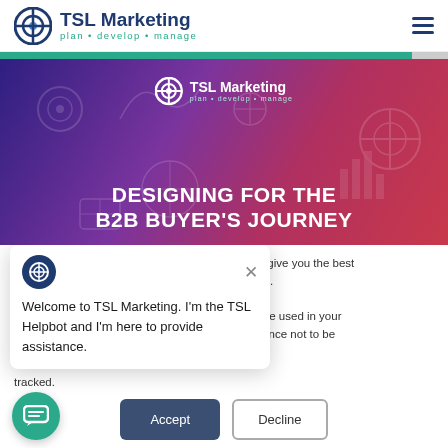[Figure (screenshot): TSL Marketing website screenshot showing the company logo with 'plan • develop • manage' tagline in the header, a teal navigation bar, and a hero section with a purple-to-red gradient background showing a decorative marketing icons pattern, the TSL Marketing logo centered, and bold white uppercase text 'DESIGNING FOR THE B2B BUYER'S JOURNEY'. Overlaid on the page is a chatbot popup from TSL Helpbot and a cookie consent banner with Accept and Decline buttons. A teal chat bubble icon appears at bottom left.]
TSL Marketing plan • develop • manage
DESIGNING FOR THE B2B BUYER'S JOURNEY
Welcome to TSL Marketing. I'm the TSL Helpbot and I'm here to provide assistance.
ve give you the best site.
ill be used in your erence not to be tracked.
Accept
Decline